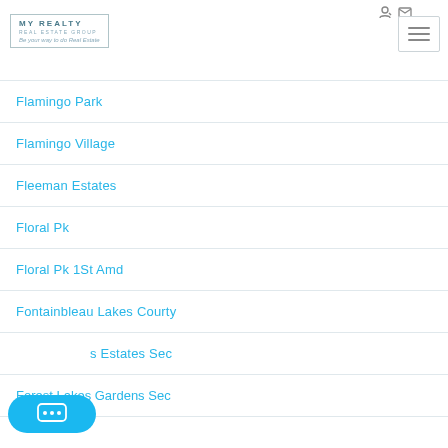[Figure (logo): My Realty Real Estate Group logo with tagline 'Be your way to do Real Estate']
Flamingo Park
Flamingo Village
Fleeman Estates
Floral Pk
Floral Pk 1St Amd
Fontainbleau Lakes Courty
...s Estates Sec
Forest Lakes Gardens Sec